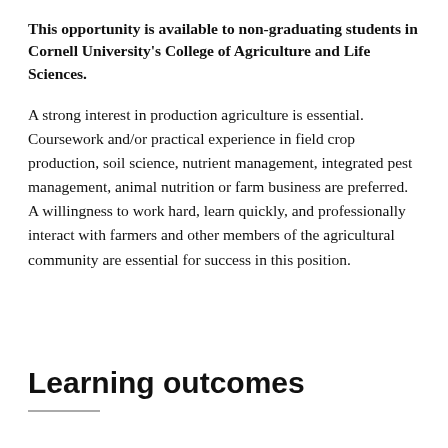This opportunity is available to non-graduating students in Cornell University's College of Agriculture and Life Sciences.
A strong interest in production agriculture is essential. Coursework and/or practical experience in field crop production, soil science, nutrient management, integrated pest management, animal nutrition or farm business are preferred. A willingness to work hard, learn quickly, and professionally interact with farmers and other members of the agricultural community are essential for success in this position.
Learning outcomes